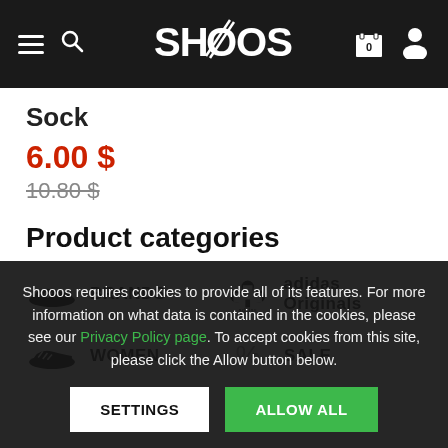SHOOOS
Sock
6.00 $
10.80 $
Product categories
BRANDS
adidas Originals
WOMEN
SALE
Shooos requires cookies to provide all of its features. For more information on what data is contained in the cookies, please see our Privacy Policy page. To accept cookies from this site, please click the Allow button below.